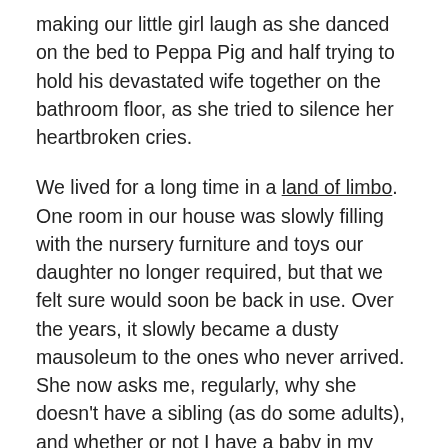making our little girl laugh as she danced on the bed to Peppa Pig and half trying to hold his devastated wife together on the bathroom floor, as she tried to silence her heartbroken cries.
We lived for a long time in a land of limbo. One room in our house was slowly filling with the nursery furniture and toys our daughter no longer required, but that we felt sure would soon be back in use. Over the years, it slowly became a dusty mausoleum to the ones who never arrived. She now asks me, regularly, why she doesn't have a sibling (as do some adults), and whether or not I have a baby in my tummy. I have had to become well versed in distracting from what we don't have and trying to divert attention to what we do.
After our last miscarriage, almost 18 months ago, we